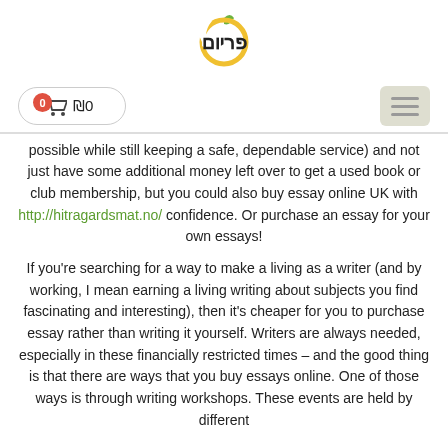[Figure (logo): Primeium brand logo with fruit/leaf icon and Hebrew text]
0 ₪0 (cart button) and hamburger menu
possible while still keeping a safe, dependable service) and not just have some additional money left over to get a used book or club membership, but you could also buy essay online UK with http://hitragardsmat.no/ confidence. Or purchase an essay for your own essays!
If you're searching for a way to make a living as a writer (and by working, I mean earning a living writing about subjects you find fascinating and interesting), then it's cheaper for you to purchase essay rather than writing it yourself. Writers are always needed, especially in these financially restricted times – and the good thing is that there are ways that you buy essays online. One of those ways is through writing workshops. These events are held by different